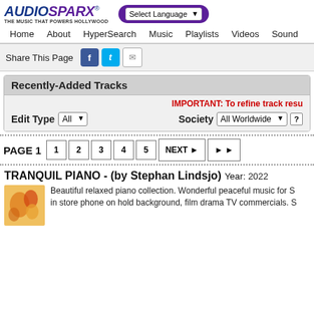[Figure (logo): AudioSparx logo with tagline 'The Music That Powers Hollywood']
Select Language | [nav: Home, About, HyperSearch, Music, Playlists, Videos, Sound]
Share This Page [Facebook icon] [Twitter icon] [Email icon]
Recently-Added Tracks
IMPORTANT: To refine track resu
Edit Type All | Society All Worldwide ?
PAGE 1   1   2   3   4   5   NEXT ►   ► ►
TRANQUIL PIANO - (by Stephan Lindsjo) Year: 2022
Beautiful relaxed piano collection. Wonderful peaceful music for S... in store phone on hold background, film drama TV commercials. S...